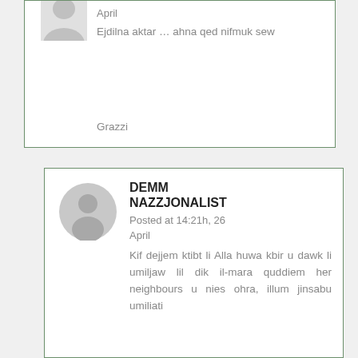April
Ejdilna aktar … ahna qed nifmuk sew

Grazzi
DEMM NAZZJONALIST
Posted at 14:21h, 26 April
Kif dejjem ktibt li Alla huwa kbir u dawk li umiljaw lil dik il-mara quddiem her neighbours u nies ohra, illum jinsabu umiliati